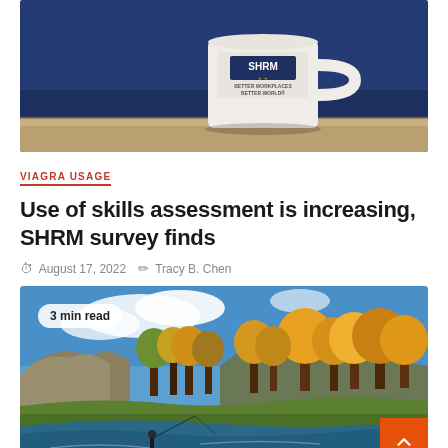[Figure (photo): SHRM branded mug with 'Better Workplaces Better World' text on a dark blue background with a wooden surface]
VIAGRA USAGE
Use of skills assessment is increasing, SHRM survey finds
August 17, 2022   Tracy B. Chen
[Figure (photo): Outdoor autumn landscape showing a river with a person fly fishing, surrounded by bright yellow and orange fall foliage trees and mountains under a blue sky with clouds. Badge overlay reads '3 min read'. Orange back-to-top button in bottom right corner.]